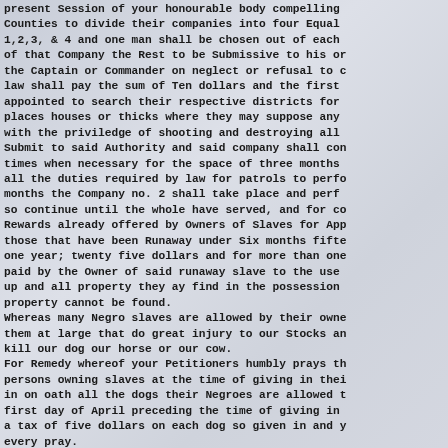present Session of your honourable body compelling Counties to divide their companies into four Equal 1,2,3, & 4 and one man shall be chosen out of each of that Company the Rest to be Submissive to his or the Captain or Commander on neglect or refusal to c law shall pay the sum of Ten dollars and the first appointed to search their respective districts for places houses or thicks where they may suppose any with the priviledge of shooting and destroying all Submit to said Authority and said company shall con times when necessary for the space of three months all the duties required by law for patrols to perfo months the Company no. 2 shall take place and perf so continue until the whole have served, and for co Rewards already offered by Owners of Slaves for App those that have been Runaway under Six months fifte one year; twenty five dollars and for more than one paid by the Owner of said runaway slave to the use up and all property they ay find in the possession property cannot be found.
Whereas many Negro slaves are allowed by their owne them at large that do great injury to our Stocks an kill our dog our horse or our cow.
For Remedy whereof your Petitioners humbly prays th persons owning slaves at the time of giving in thei in on oath all the dogs their Negroes are allowed t first day of April preceding the time of giving in a tax of five dollars on each dog so given in and y every pray.